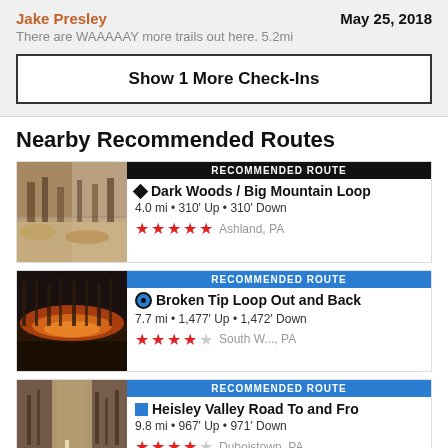Jake Presley — May 25, 2018
There are WAAAAAY more trails out here. 5.2mi
Show 1 More Check-Ins
Nearby Recommended Routes
RECOMMENDED ROUTE
♦ Dark Woods / Big Mountain Loop
4.0 mi • 310' Up • 310' Down
★★★★★ Ashland, PA
RECOMMENDED ROUTE
● Broken Tip Loop Out and Back
7.7 mi • 1,477' Up • 1,472' Down
★★★★☆ South W..., PA
RECOMMENDED ROUTE
■ Heisley Valley Road To and Fro
9.8 mi • 967' Up • 971' Down
★★★★☆ Duboistown, PA